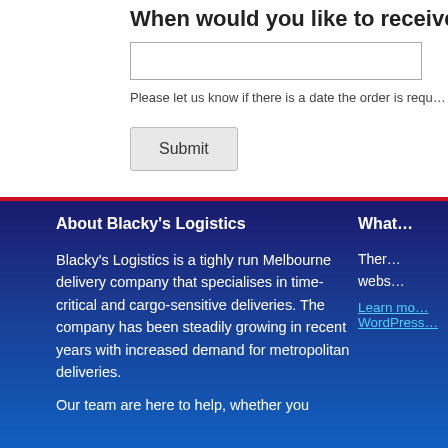When would you like to receive the order…
Please let us know if there is a date the order is requ…
Submit
About Blacky's Logistics
Blacky's Logistics is a tighly run Melbourne delivery company that specialises in time-critical and cargo-sensitive deliveries. The company has been steadily growing in recent years with increased demand for metropolitan deliveries.
Our team are here to help, whether you
What…
Ther… webs…
Learn mo… WordPress…